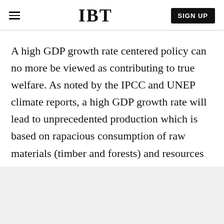IBT  SIGN UP
A high GDP growth rate centered policy can no more be viewed as contributing to true welfare. As noted by the IPCC and UNEP climate reports, a high GDP growth rate will lead to unprecedented production which is based on rapacious consumption of raw materials (timber and forests) and resources such as water.